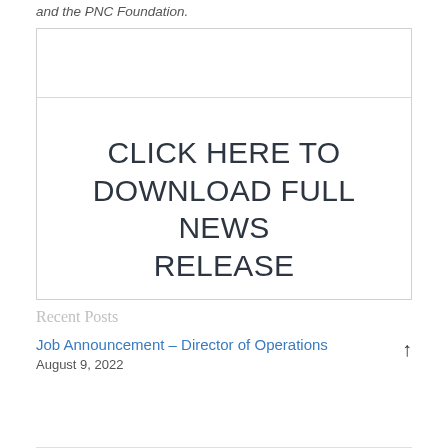and the PNC Foundation.
CLICK HERE TO DOWNLOAD FULL NEWS RELEASE
Recent Posts
Job Announcement – Director of Operations
August 9, 2022